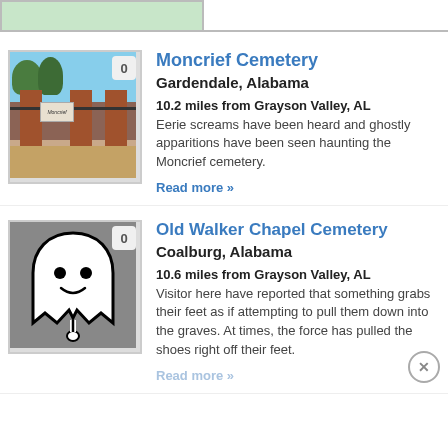[Figure (photo): Partial top image, green trees/grass visible, partially cropped]
[Figure (photo): Photo of Moncrief Cemetery gate with red brick pillars and iron fence, sign reading Moncrief cemetery, badge showing 0]
Moncrief Cemetery
Gardendale, Alabama
10.2 miles from Grayson Valley, AL
Eerie screams have been heard and ghostly apparitions have been seen haunting the Moncrief cemetery.
Read more »
[Figure (illustration): Ghost cartoon illustration (white ghost with smile on grey background), badge showing 0]
Old Walker Chapel Cemetery
Coalburg, Alabama
10.6 miles from Grayson Valley, AL
Visitor here have reported that something grabs their feet as if attempting to pull them down into the graves. At times, the force has pulled the shoes right off their feet.
Read more »